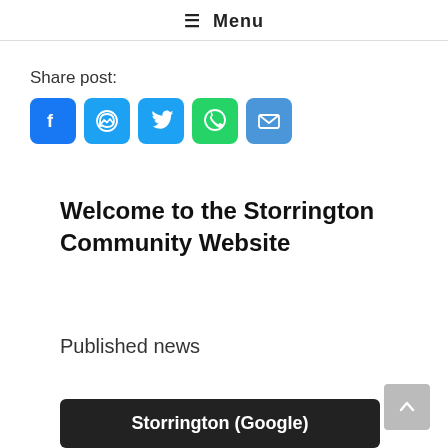≡ Menu
Share post:
[Figure (infographic): Social share buttons: Facebook, Messenger, Twitter, WhatsApp, Email]
Welcome to the Storrington Community Website
Published news
Storrington (Google)